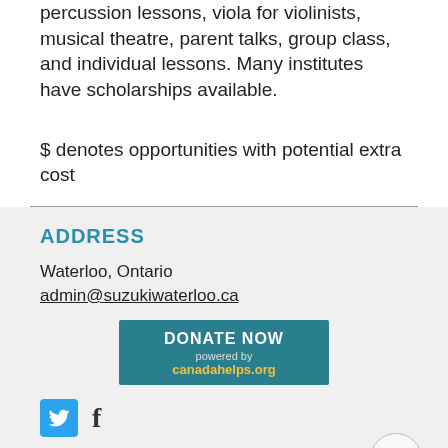percussion lessons, viola for violinists, musical theatre, parent talks, group class, and individual lessons. Many institutes have scholarships available.
$ denotes opportunities with potential extra cost
ADDRESS
Waterloo, Ontario
admin@suzukiwaterloo.ca
[Figure (other): Donate Now button powered by canadahelps.org]
[Figure (other): Twitter and Facebook social media icons]
© 2022 by Suzuki Talent Education of Waterloo